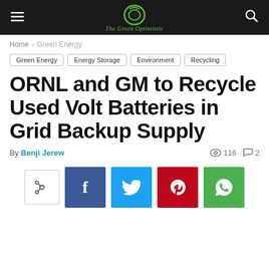The Green Optimistic
Home > Green Energy
Green Energy
Energy Storage
Environment
Recycling
ORNL and GM to Recycle Used Volt Batteries in Grid Backup Supply
By Benji Jerew  116  2
[Figure (infographic): Social share buttons: share icon (outline), Facebook (blue), Twitter (light blue), Pinterest (red), WhatsApp (green)]